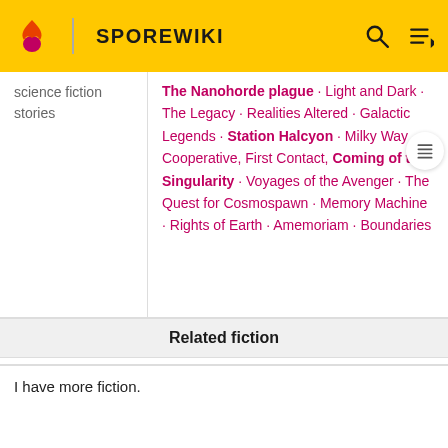SPOREWIKI
science fiction stories
The Nanohorde plague · Light and Dark · The Legacy · Realities Altered · Galactic Legends · Station Halcyon · Milky Way Cooperative, First Contact, Coming of the Singularity · Voyages of the Avenger · The Quest for Cosmospawn · Memory Machine · Rights of Earth · Amemoriam · Boundaries
Related fiction
I have more fiction.